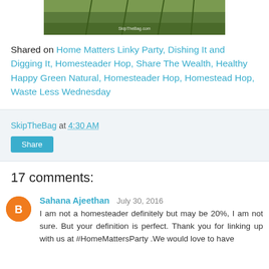[Figure (photo): Partial image of green plants/corn field with 'SkipTheBag.com' watermark overlay at the bottom]
Shared on Home Matters Linky Party, Dishing It and Digging It, Homesteader Hop, Share The Wealth, Healthy Happy Green Natural, Homesteader Hop, Homestead Hop, Waste Less Wednesday
SkipTheBag at 4:30 AM
Share
17 comments:
Sahana Ajeethan July 30, 2016
I am not a homesteader definitely but may be 20%, I am not sure. But your definition is perfect. Thank you for linking up with us at #HomeMattersParty .We would love to have